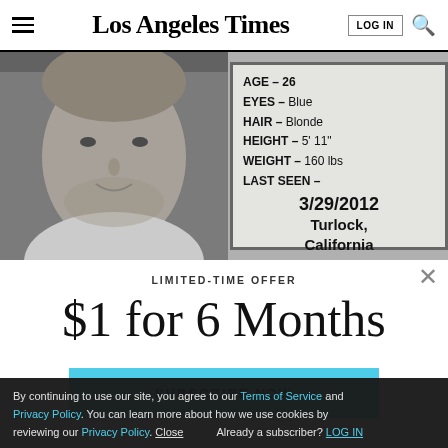Los Angeles Times
[Figure (photo): Black and white mugshot/missing person photo of a young man with light hair and beard, alongside a missing person info card showing: AGE - 26, EYES - Blue, HAIR - Blonde, HEIGHT - 5' 11", WEIGHT - 160 lbs, LAST SEEN - 3/29/2012 Turlock, California]
LIMITED-TIME OFFER
$1 for 6 Months
SUBSCRIBE NOW
Already a subscriber? LOG IN
By continuing to use our site, you agree to our Terms of Service and Privacy Policy. You can learn more about how we use cookies by reviewing our Privacy Policy. Close